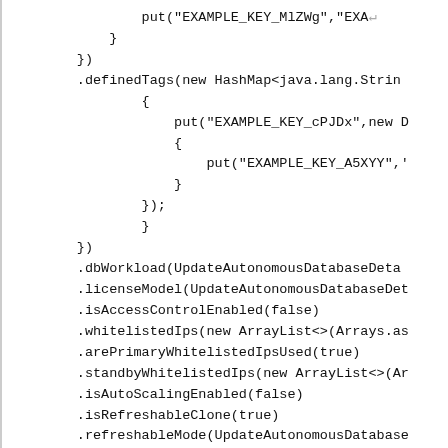put("EXAMPLE_KEY_MlZWg","EXA
            }
        })
        .definedTags(new HashMap<java.lang.Strin
                {
                    put("EXAMPLE_KEY_cPJDx",new D
                    {
                        put("EXAMPLE_KEY_A5XYY",'
                    }
                });
                }
        })
        .dbWorkload(UpdateAutonomousDatabaseDeta
        .licenseModel(UpdateAutonomousDatabaseDet
        .isAccessControlEnabled(false)
        .whitelistedIps(new ArrayList<>(Arrays.as
        .arePrimaryWhitelistedIpsUsed(true)
        .standbyWhitelistedIps(new ArrayList<>(Ar
        .isAutoScalingEnabled(false)
        .isRefreshableClone(true)
        .refreshableMode(UpdateAutonomousDatabase
        .interImAuoEnabled(fels)